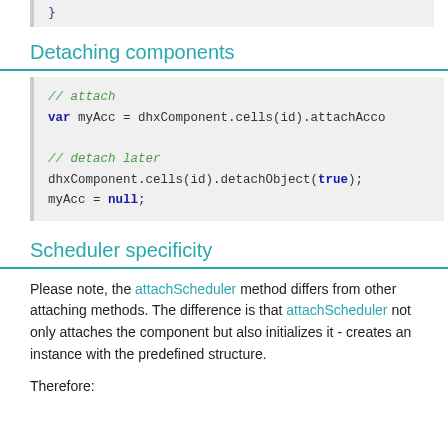}
Detaching components
// attach
var myAcc = dhxComponent.cells(id).attachAcco

// detach later
dhxComponent.cells(id).detachObject(true);
myAcc = null;
Scheduler specificity
Please note, the attachScheduler method differs from other attaching methods. The difference is that attachScheduler not only attaches the component but also initializes it - creates an instance with the predefined structure.
Therefore: